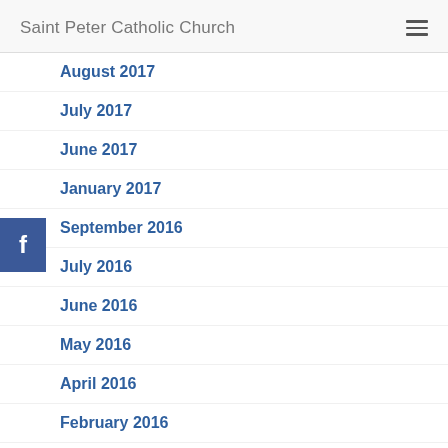Saint Peter Catholic Church
August 2017
July 2017
June 2017
January 2017
September 2016
July 2016
June 2016
May 2016
April 2016
February 2016